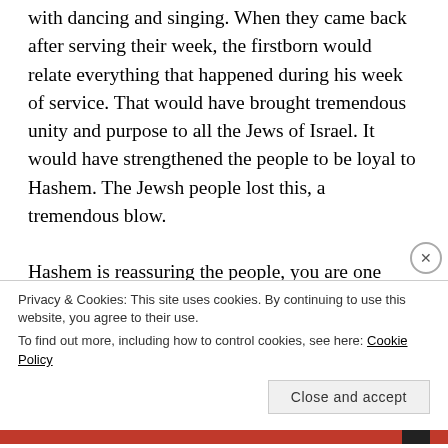with dancing and singing.  When they came back after serving their week, the firstborn would relate everything that happened during his week  of service.  That would have brought tremendous unity and purpose to all the Jews of Israel.  It would have strengthened the people to be loyal to Hashem.  The Jewsh people lost this, a tremendous blow.

Hashem is reassuring the people, you are one nation, you have a part of the Kohanim and Levim's service, you have Hashem within you.  The promotion of the
Privacy & Cookies: This site uses cookies. By continuing to use this website, you agree to their use.
To find out more, including how to control cookies, see here: Cookie Policy